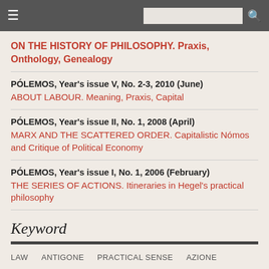Navigation bar with hamburger menu and search box
ON THE HISTORY OF PHILOSOPHY. Praxis, Onthology, Genealogy
PÓLEMOS, Year's issue V, No. 2-3, 2010 (June)
ABOUT LABOUR. Meaning, Praxis, Capital
PÓLEMOS, Year's issue II, No. 1, 2008 (April)
MARX AND THE SCATTERED ORDER. Capitalistic Nómos and Critique of Political Economy
PÓLEMOS, Year's issue I, No. 1, 2006 (February)
THE SERIES OF ACTIONS. Itineraries in Hegel's practical philosophy
Keyword
LAW   ANTIGONE   PRACTICAL SENSE   AZIONE